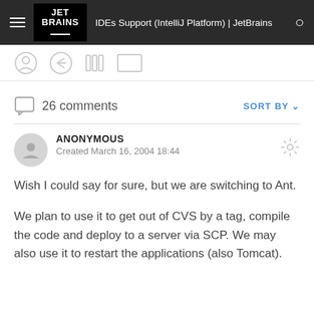IDEs Support (IntelliJ Platform) | JetBrains
26 comments  SORT BY
ANONYMOUS
Created March 16, 2004 18:44
Wish I could say for sure, but we are switching to Ant.

We plan to use it to get out of CVS by a tag, compile the code and deploy to a server via SCP. We may also use it to restart the applications (also Tomcat).